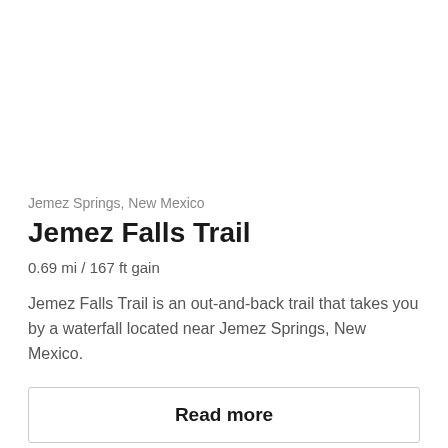[Figure (photo): Empty white area representing a trail photo placeholder at the top of the card]
Jemez Springs, New Mexico
Jemez Falls Trail
0.69 mi / 167 ft gain
Jemez Falls Trail is an out-and-back trail that takes you by a waterfall located near Jemez Springs, New Mexico.
Read more